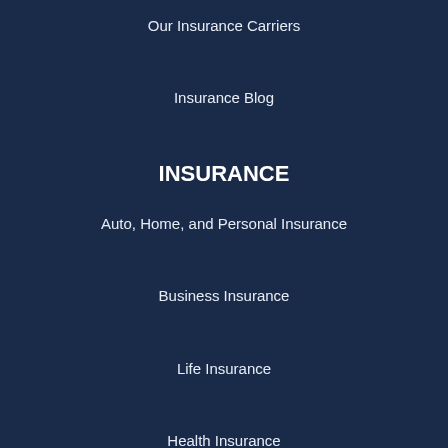Our Insurance Carriers
Insurance Blog
INSURANCE
Auto, Home, and Personal Insurance
Business Insurance
Life Insurance
Health Insurance